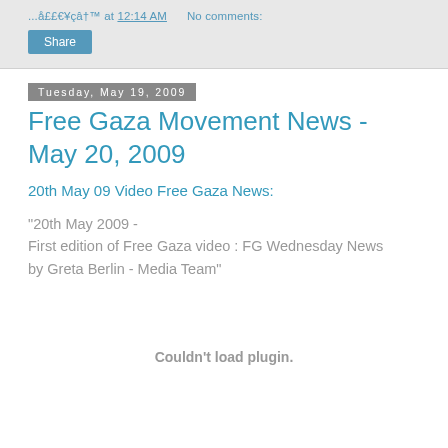...å££€¥çâ†™ at 12:14 AM   No comments:
Share
Tuesday, May 19, 2009
Free Gaza Movement News - May 20, 2009
20th May 09 Video Free Gaza News:
"20th May 2009 -
First edition of Free Gaza video : FG Wednesday News by Greta Berlin - Media Team"
Couldn't load plugin.